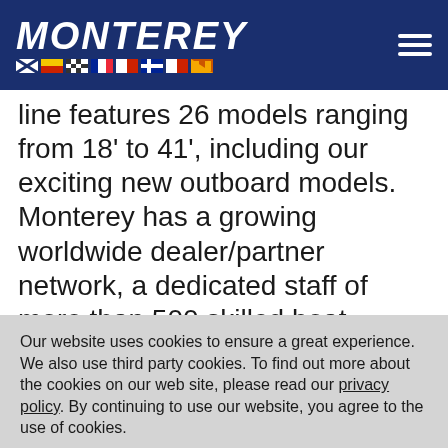[Figure (logo): Monterey boats logo with italic bold white text 'MONTEREY' and nautical flag icons below, on dark navy background, with hamburger menu icon top right]
line features 26 models ranging from 18' to 41', including our exciting new outboard models. Monterey has a growing worldwide dealer/partner network, a dedicated staff of more than 500 skilled boat builders, and is an industry leader in designing and building superior stern-drive pleasure boats. In 25
Our website uses cookies to ensure a great experience. We also use third party cookies. To find out more about the cookies on our web site, please read our privacy policy. By continuing to use our website, you agree to the use of cookies.